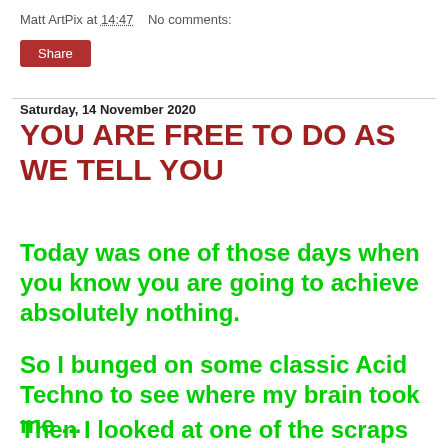Matt ArtPix at 14:47    No comments:
Share
Saturday, 14 November 2020
YOU ARE FREE TO DO AS WE TELL YOU
Today was one of those days when you know you are going to achieve absolutely nothing.
So I bunged on some classic Acid Techno to see where my brain took me ...
Then I looked at one of the scraps of